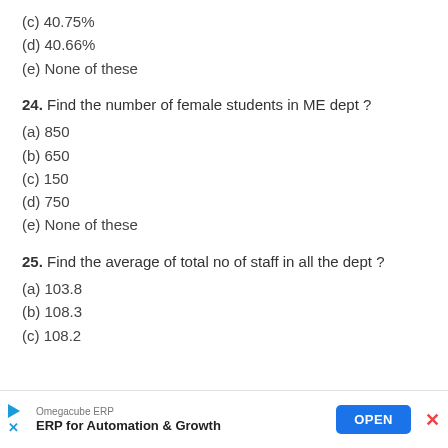(c) 40.75%
(d) 40.66%
(e) None of these
24. Find the number of female students in ME dept ?
(a) 850
(b) 650
(c) 150
(d) 750
(e) None of these
25. Find the average of total no of staff in all the dept ?
(a) 103.8
(b) 108.3
(c) 108.2